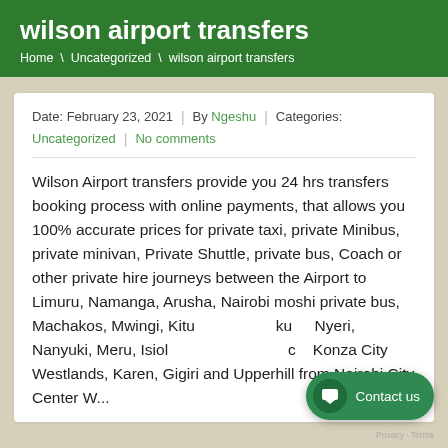wilson airport transfers
Home \ Uncategorized \ wilson airport transfers
Date: February 23, 2021  |  By Ngeshu  |  Categories:
Uncategorized  |  No comments
Wilson Airport transfers provide you 24 hrs transfers booking process with online payments, that allows you 100% accurate prices for private taxi, private Minibus, private minivan, Private Shuttle, private bus, Coach or other private hire journeys between the Airport to Limuru, Namanga, Arusha, Nairobi moshi private bus, Machakos, Mwingi, Kitui Nairobi Nakuru, Nyeri, Nanyuki, Meru, Isiolo, Nyahururu Kijabe, Konza City Westlands, Karen, Gigiri and Upperhill from Nairobi City Center Where...